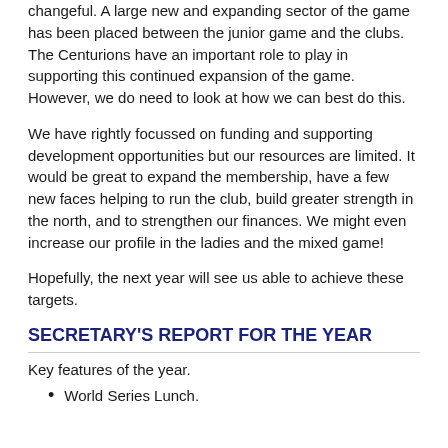changeful. A large new and expanding sector of the game has been placed between the junior game and the clubs. The Centurions have an important role to play in supporting this continued expansion of the game. However, we do need to look at how we can best do this.
We have rightly focussed on funding and supporting development opportunities but our resources are limited. It would be great to expand the membership, have a few new faces helping to run the club, build greater strength in the north, and to strengthen our finances. We might even increase our profile in the ladies and the mixed game!
Hopefully, the next year will see us able to achieve these targets.
SECRETARY'S REPORT FOR THE YEAR
Key features of the year.
World Series Lunch.